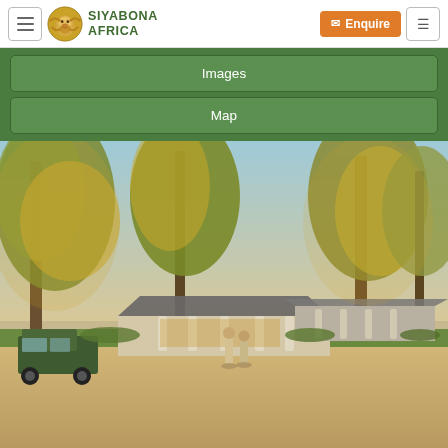Siyabona Africa — navigation bar with hamburger menu, logo, Enquire button
Images
Map
[Figure (photo): Safari lodge exterior at golden hour. A colonial-style lodge with a covered porte-cochère supported by white pillars, surrounded by large trees bathed in warm evening light. Two staff members in khaki uniforms stand in the foreground on a sandy driveway. A green Land Rover is parked to the left.]